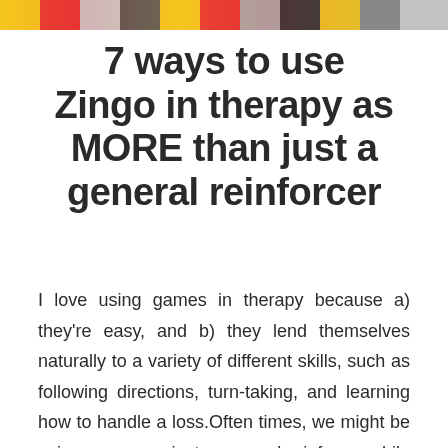[Figure (illustration): Colorful banner image at the top with bright yellow, red, grey and dark colored segments, appears to be a cropped game/toy image header]
7 ways to use Zingo in therapy as MORE than just a general reinforcer
I love using games in therapy because a) they're easy, and b) they lend themselves naturally to a variety of different skills, such as following directions, turn-taking, and learning how to handle a loss.Often times, we might be using games as just a general reinforcer while we do drill with other skills,